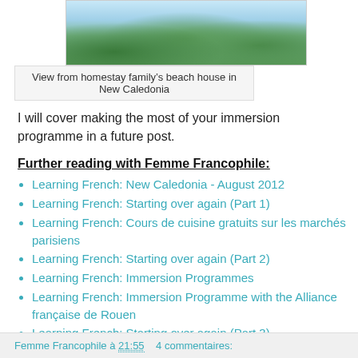[Figure (photo): View from homestay family's beach house in New Caledonia - green foliage with water and sky in background]
View from homestay family’s beach house in New Caledonia
I will cover making the most of your immersion programme in a future post.
Further reading with Femme Francophile:
Learning French: New Caledonia - August 2012
Learning French: Starting over again (Part 1)
Learning French: Cours de cuisine gratuits sur les marchés parisiens
Learning French: Starting over again (Part 2)
Learning French: Immersion Programmes
Learning French: Immersion Programme with the Alliance française de Rouen
Learning French: Starting over again (Part 3)
Femme Francophile à 21:55    4 commentaires: